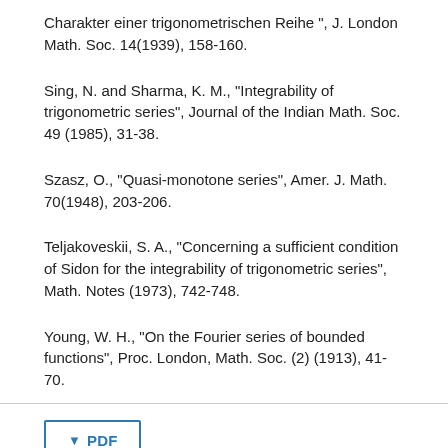Charakter einer trigonometrischen Reihe", J. London Math. Soc. 14(1939), 158-160.
Sing, N. and Sharma, K. M., "Integrability of trigonometric series", Journal of the Indian Math. Soc. 49 (1985), 31-38.
Szasz, O., "Quasi-monotone series", Amer. J. Math. 70(1948), 203-206.
Teljakoveskii, S. A., "Concerning a sufficient condition of Sidon for the integrability of trigonometric series", Math. Notes (1973), 742-748.
Young, W. H., "On the Fourier series of bounded functions", Proc. London, Math. Soc. (2) (1913), 41-70.
PDF